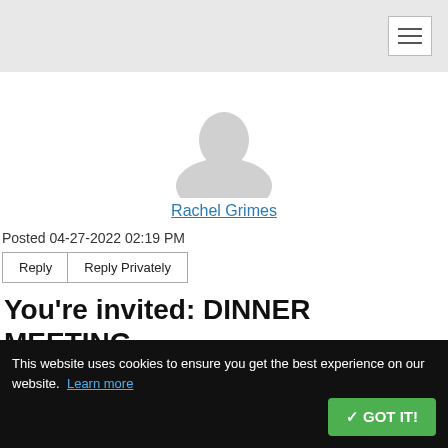[Figure (illustration): Default user profile avatar silhouette in light gray]
Rachel Grimes
Posted 04-27-2022 02:19 PM
Reply | Reply Privately
You're invited: DINNER MEETING – Thursday, May 12, 2022
!!!Lithium Resources beneath the
This website uses cookies to ensure you get the best experience on our website. Learn more